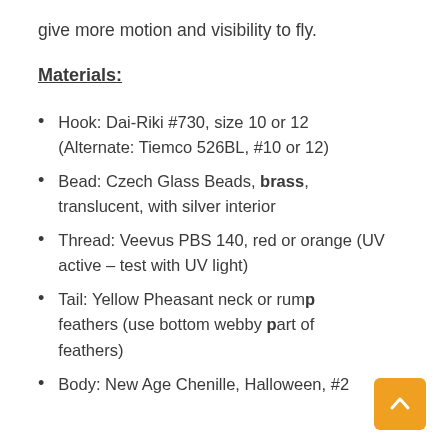give more motion and visibility to fly.
Materials:
Hook:  Dai-Riki #730, size 10 or 12 (Alternate:  Tiemco 526BL, #10 or 12)
Bead:  Czech Glass Beads, brass, translucent, with silver interior
Thread:  Veevus PBS 140, red or orange (UV active – test with UV light)
Tail:  Yellow Pheasant neck or rump feathers (use bottom webby part of feathers)
Body:  New Age Chenille, Halloween, #2